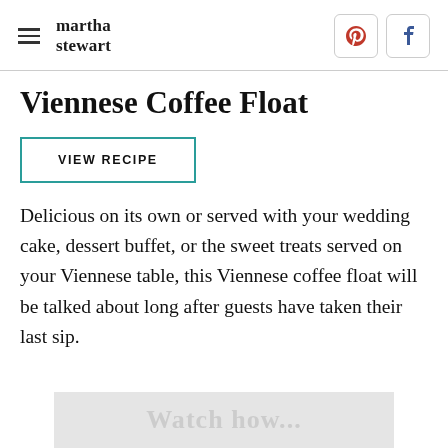martha stewart
Viennese Coffee Float
VIEW RECIPE
Delicious on its own or served with your wedding cake, dessert buffet, or the sweet treats served on your Viennese table, this Viennese coffee float will be talked about long after guests have taken their last sip.
[Figure (screenshot): Partially visible image at the bottom of the page with gray background and faint watermark text]